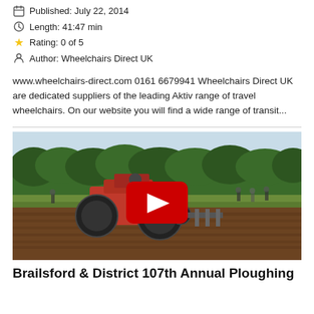Published: July 22, 2014
Length: 41:47 min
Rating: 0 of 5
Author: Wheelchairs Direct UK
www.wheelchairs-direct.com 0161 6679941 Wheelchairs Direct UK are dedicated suppliers of the leading Aktiv range of travel wheelchairs. On our website you will find a wide range of transit...
[Figure (screenshot): Video thumbnail showing a red vintage tractor ploughing a field with people in the background, overlaid with a YouTube-style red play button.]
Brailsford & District 107th Annual Ploughing